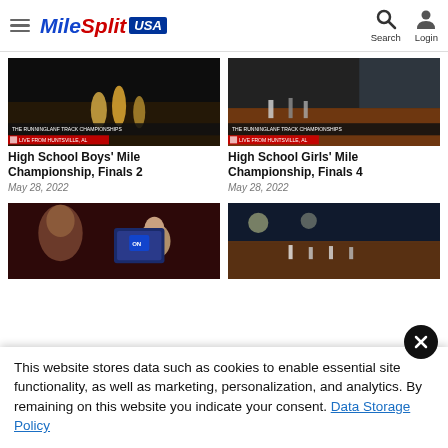MileSplit USA — Search, Login
[Figure (screenshot): High School Boys' Mile Championship track race thumbnail with 'THE RUNNINGLANF TRACK CHAMPIONSHIPS' and 'LIVE FROM HUNTSVILLE, AL' lower-thirds]
High School Boys' Mile Championship, Finals 2
May 28, 2022
[Figure (screenshot): High School Girls' Mile Championship track race thumbnail with 'THE RUNNINGLANF TRACK CHAMPIONSHIPS' and 'LIVE FROM HUNTSVILLE, AL' lower-thirds]
High School Girls' Mile Championship, Finals 4
May 28, 2022
[Figure (screenshot): Podcast/studio broadcast thumbnail showing two hosts]
[Figure (screenshot): Outdoor track meet night event thumbnail]
This website stores data such as cookies to enable essential site functionality, as well as marketing, personalization, and analytics. By remaining on this website you indicate your consent. Data Storage Policy